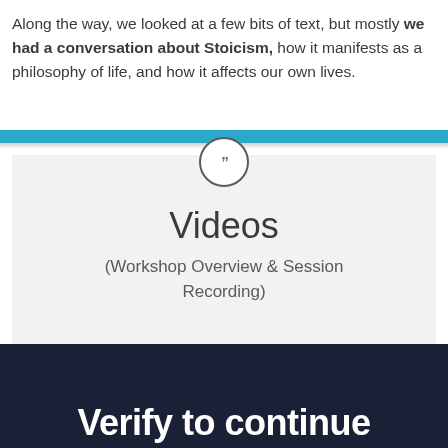Along the way, we looked at a few bits of text, but mostly we had a conversation about Stoicism, how it manifests as a philosophy of life, and how it affects our own lives.
[Figure (infographic): Teal horizontal bar divider followed by a quote mark icon in a circle, then a light gray card containing 'Videos' title and '(Workshop Overview & Session Recording)' subtitle]
Verify to continue